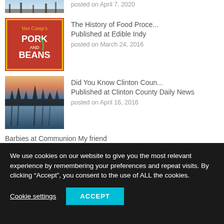posted on April 7, 2020
[Figure (photo): Van Camp's Pork and Beans vintage can label, red background with white text]
The History of Food Proce... Published at Edible Indy
posted on March 24, 2016
[Figure (photo): Sunset over a calm lake with silhouetted trees reflecting in the water]
Did You Know Clinton Coun... Published at Clinton County Daily News
posted on April 16, 2016
Barbies at Communion My friend Marcus Goodyear recently released
We use cookies on our website to give you the most relevant experience by remembering your preferences and repeat visits. By clicking “Accept”, you consent to the use of ALL the cookies.
Cookie settings
ACCEPT